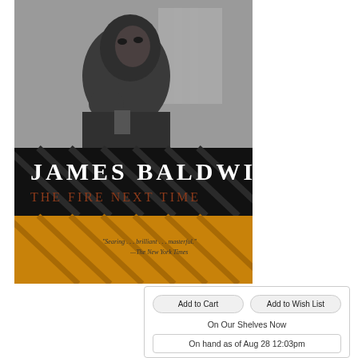[Figure (photo): Book cover of 'The Fire Next Time' by James Baldwin. Top half shows a black-and-white photograph of James Baldwin looking upward with his hand raised near his chin. The middle section has a black banner with diagonal lines and the white text 'JAMES BALDWIN'. Below that is dark red/brown text 'THE FIRE NEXT TIME'. The bottom portion shows a golden/orange background with diagonal lines. A quote reads: '"Searing . . . brilliant . . . masterful." —The New York Times']
Add to Cart
Add to Wish List
On Our Shelves Now
On hand as of Aug 28 12:03pm